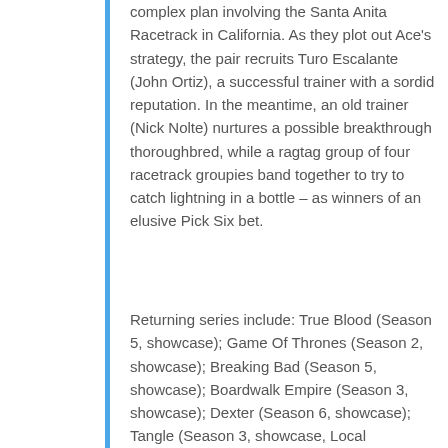complex plan involving the Santa Anita Racetrack in California. As they plot out Ace's strategy, the pair recruits Turo Escalante (John Ortiz), a successful trainer with a sordid reputation. In the meantime, an old trainer (Nick Nolte) nurtures a possible breakthrough thoroughbred, while a ragtag group of four racetrack groupies band together to try to catch lightning in a bottle – as winners of an elusive Pick Six bet.
Returning series include: True Blood (Season 5, showcase); Game Of Thrones (Season 2, showcase); Breaking Bad (Season 5, showcase); Boardwalk Empire (Season 3, showcase); Dexter (Season 6, showcase); Tangle (Season 3, showcase, Local Production); Mad Men (Season 5, Movie Extra); The Borgias (Season 2 for W); and Upstairs Downstairs (Season 2, UKTV)